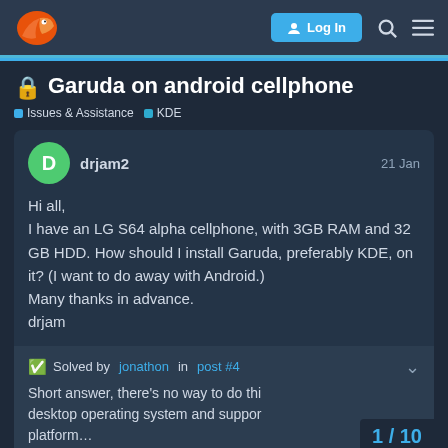Garuda Linux forum navigation bar with Log In button, search icon, and menu icon
🔒 Garuda on android cellphone
Issues & Assistance   KDE
drjam2   21 Jan
Hi all,
I have an LG S64 alpha cellphone, with 3GB RAM and 32 GB HDD. How should I install Garuda, preferably KDE, on it? (I want to do away with Android.)
Many thanks in advance.
drjam
✅ Solved by jonathon in post #4
Short answer, there's no way to do thi… desktop operating system and suppor… platform…
1 / 10